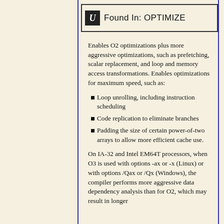U | Found In: OPTIMIZE
Enables O2 optimizations plus more aggressive optimizations, such as prefetching, scalar replacement, and loop and memory access transformations. Enables optimizations for maximum speed, such as:
Loop unrolling, including instruction scheduling
Code replication to eliminate branches
Padding the size of certain power-of-two arrays to allow more efficient cache use.
On IA-32 and Intel EM64T processors, when O3 is used with options -ax or -x (Linux) or with options /Qax or /Qx (Windows), the compiler performs more aggressive data dependency analysis than for O2, which may result in longer